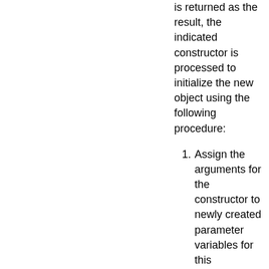is returned as the result, the indicated constructor is processed to initialize the new object using the following procedure:
Assign the arguments for the constructor to newly created parameter variables for this constructor invocation.
If this constructor begins with an